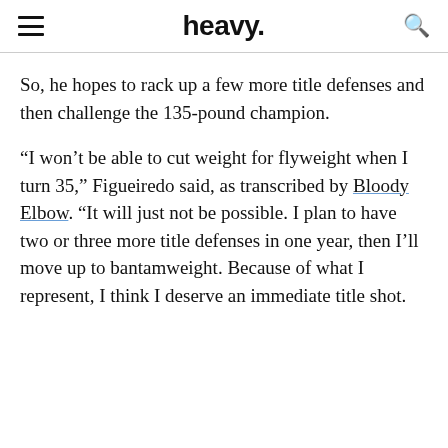heavy.
So, he hopes to rack up a few more title defenses and then challenge the 135-pound champion.
“I won’t be able to cut weight for flyweight when I turn 35,” Figueiredo said, as transcribed by Bloody Elbow. “It will just not be possible. I plan to have two or three more title defenses in one year, then I’ll move up to bantamweight. Because of what I represent, I think I deserve an immediate title shot.